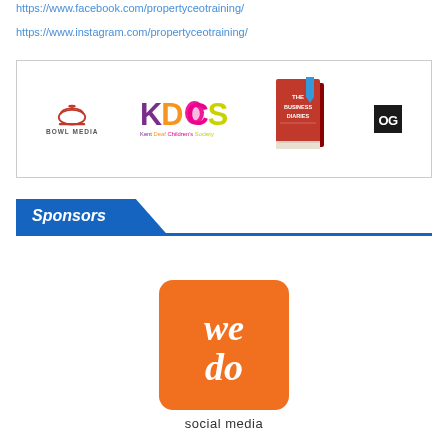https://www.facebook.com/propertyceotraining/
https://www.instagram.com/propertyceotraining/
[Figure (logo): Logos box containing: Bowl Media logo, KDCS (Kent Deaf Children's Society) logo, The Business Diaries book logo, and OG logo]
Sponsors
[Figure (logo): We Do Social Media logo — orange rounded square with cursive 'we do' text, and 'social media' label below]